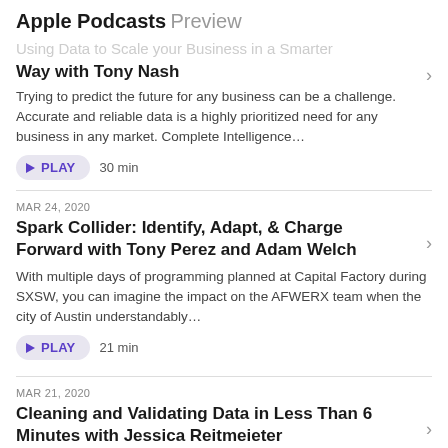Apple Podcasts Preview
Using Data to Scale your Business in a Smarter Way with Tony Nash
Trying to predict the future for any business can be a challenge. Accurate and reliable data is a highly prioritized need for any business in any market. Complete Intelligence...
PLAY  30 min
MAR 24, 2020
Spark Collider: Identify, Adapt, & Charge Forward with Tony Perez and Adam Welch
With multiple days of programming planned at Capital Factory during SXSW, you can imagine the impact on the AFWERX team when the city of Austin understandably...
PLAY  21 min
MAR 21, 2020
Cleaning and Validating Data in Less Than 6 Minutes with Jessica Reitmeieter
From a school project to a full-fledged business, Pandata Tech is making sure that the data you capture is processed and validated in mere minutes. Co-founder Jessica...